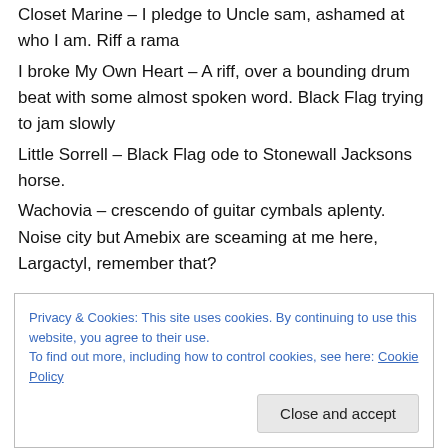Closet Marine – I pledge to Uncle sam, ashamed at who I am. Riff a rama
I broke My Own Heart – A riff, over a bounding drum beat with some almost spoken word. Black Flag trying to jam slowly
Little Sorrell – Black Flag ode to Stonewall Jacksons horse.
Wachovia – crescendo of guitar cymbals aplenty. Noise city but Amebix are sceaming at me here, Largactyl, remember that?
Privacy & Cookies: This site uses cookies. By continuing to use this website, you agree to their use. To find out more, including how to control cookies, see here: Cookie Policy
Close and accept